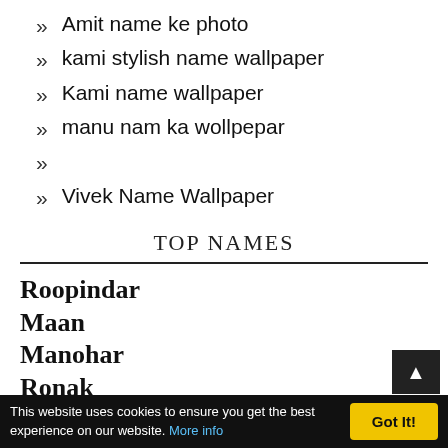» Amit name ke photo
» kami stylish name wallpaper
» Kami name wallpaper
» manu nam ka wollpepar
»
» Vivek Name Wallpaper
TOP NAMES
Roopindar
Maan
Manohar
Ronak
This website uses cookies to ensure you get the best experience on our website. More info  Got It!